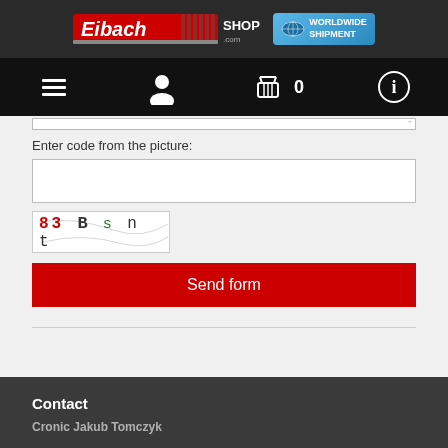[Figure (logo): Eibach Shop.com logo with red branding and Worldwide Shipment badge]
[Figure (screenshot): Navigation bar with hamburger menu, user icon, shopping cart with 0 items, and info icon]
Enter code from the picture:
[Figure (other): CAPTCHA image showing text: 83Bsnt]
Send form
Contact
Cronic Jakub Tomczyk